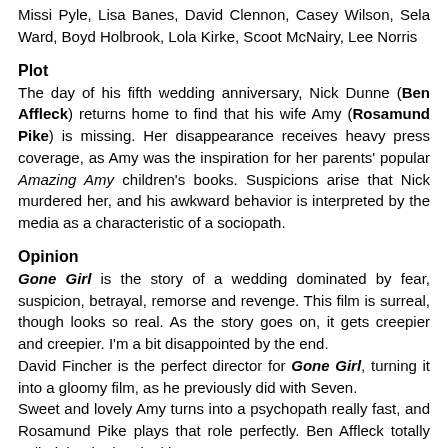Missi Pyle, Lisa Banes, David Clennon, Casey Wilson, Sela Ward, Boyd Holbrook, Lola Kirke, Scoot McNairy, Lee Norris
Plot
The day of his fifth wedding anniversary, Nick Dunne (Ben Affleck) returns home to find that his wife Amy (Rosamund Pike) is missing. Her disappearance receives heavy press coverage, as Amy was the inspiration for her parents' popular Amazing Amy children's books. Suspicions arise that Nick murdered her, and his awkward behavior is interpreted by the media as a characteristic of a sociopath.
Opinion
Gone Girl is the story of a wedding dominated by fear, suspicion, betrayal, remorse and revenge. This film is surreal, though looks so real. As the story goes on, it gets creepier and creepier. I'm a bit disappointed by the end.
David Fincher is the perfect director for Gone Girl, turning it into a gloomy film, as he previously did with Seven.
Sweet and lovely Amy turns into a psychopath really fast, and Rosamund Pike plays that role perfectly. Ben Affleck totally nailed the the lost-looking guy.